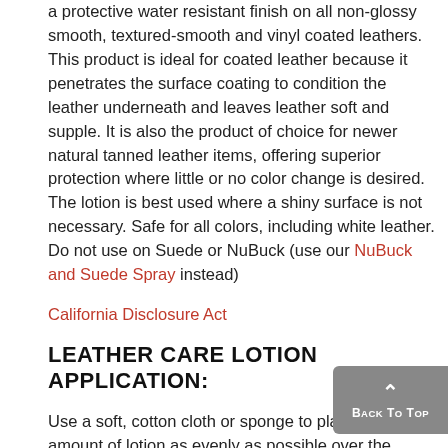a protective water resistant finish on all non-glossy smooth, textured-smooth and vinyl coated leathers. This product is ideal for coated leather because it penetrates the surface coating to condition the leather underneath and leaves leather soft and supple. It is also the product of choice for newer natural tanned leather items, offering superior protection where little or no color change is desired. The lotion is best used where a shiny surface is not necessary. Safe for all colors, including white leather. Do not use on Suede or NuBuck (use our NuBuck and Suede Spray instead)
California Disclosure Act
LEATHER CARE LOTION APPLICATION:
Use a soft, cotton cloth or sponge to place a small amount of lotion as evenly as possible over the leather's surface. This lotion provides a very fast application time without changing the color or texture